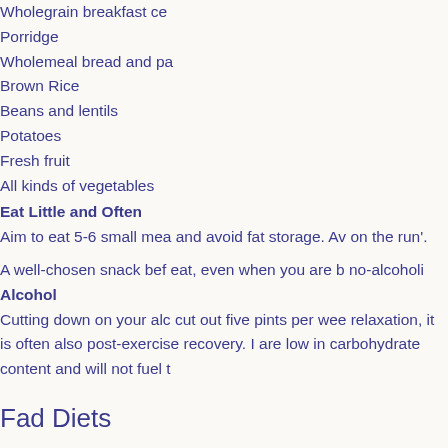Wholegrain breakfast ce...
Porridge
Wholemeal bread and pa...
Brown Rice
Beans and lentils
Potatoes
Fresh fruit
All kinds of vegetables
Eat Little and Often
Aim to eat 5-6 small mea... and avoid fat storage. Av... on the run'.
A well-chosen snack bef... eat, even when you are b... no-alcoholi
Alcohol
Cutting down on your alc... cut out five pints per wee... relaxation, it is often also... post-exercise recovery. D... are low in carbohydrate... content and will not fuel ...
Fad Diets
Be wary of diets and sup... and effective weight loss... Consult a Dietitian if you... program. Expert advice i...
Many athletes falsely as...